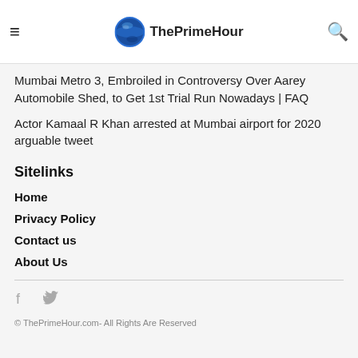ThePrimeHour
Mumbai Metro 3, Embroiled in Controversy Over Aarey Automobile Shed, to Get 1st Trial Run Nowadays | FAQ
Actor Kamaal R Khan arrested at Mumbai airport for 2020 arguable tweet
Sitelinks
Home
Privacy Policy
Contact us
About Us
© ThePrimeHour.com- All Rights Are Reserved